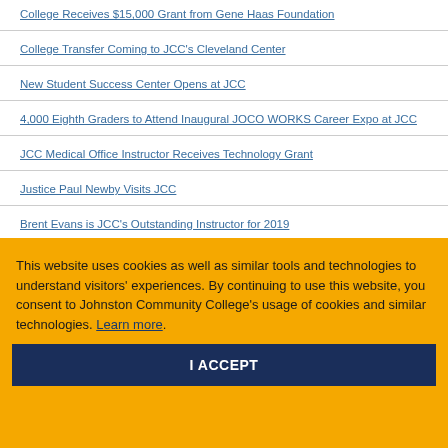College Receives $15,000 Grant from Gene Haas Foundation
College Transfer Coming to JCC's Cleveland Center
New Student Success Center Opens at JCC
4,000 Eighth Graders to Attend Inaugural JOCO WORKS Career Expo at JCC
JCC Medical Office Instructor Receives Technology Grant
Justice Paul Newby Visits JCC
Brent Evans is JCC's Outstanding Instructor for 2019
Cari Drew is JCC's Outstanding Staff Person for 2019
Diesel Students Receive Tools, Tool Boxes, Scholarships
JCC Announces Fall Semester President's, Dean's List
Associates in Engineering partners with Early College Academy to offer a
This website uses cookies as well as similar tools and technologies to understand visitors' experiences. By continuing to use this website, you consent to Johnston Community College's usage of cookies and similar technologies. Learn more.
I ACCEPT